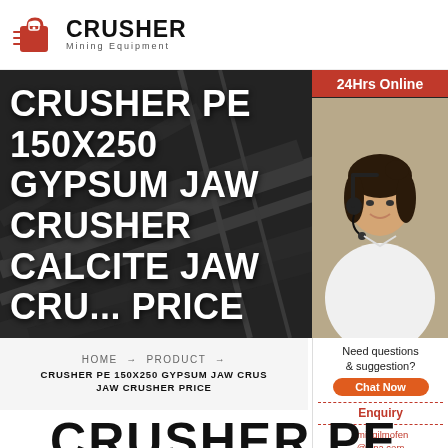CRUSHER Mining Equipment
[Figure (screenshot): Hero banner with dark industrial background showing conveyor/mining equipment silhouette. Large white bold text reads: CRUSHER PE 150X250 GYPSUM JAW CRUSHER CALCITE JAW CRU... PRICE. Red badge top-right: 24Hrs Online. Agent photo (woman with headset) on right side.]
HOME → PRODUCT → CRUSHER PE 150X250 GYPSUM JAW CRUSHER CALCITE JAW CRUSHER PRICE
[Figure (infographic): Right sidebar CTA panel: 'Need questions & suggestion?' with Chat Now button (orange pill), dashed red divider, Enquiry link, dashed red divider, limingjlmofen@sina.com email]
CRUSHER PE